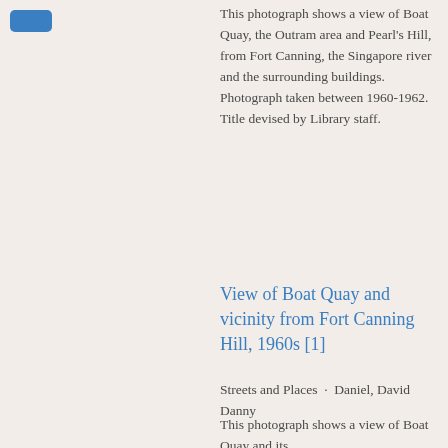[Figure (other): Blue rounded rectangle tag/label in top left corner]
This photograph shows a view of Boat Quay, the Outram area and Pearl's Hill, from Fort Canning, the Singapore river and the surrounding buildings. Photograph taken between 1960-1962. Title devised by Library staff.
View of Boat Quay and vicinity from Fort Canning Hill, 1960s [1]
Streets and Places · Daniel, David Danny
This photograph shows a view of Boat Quay and its